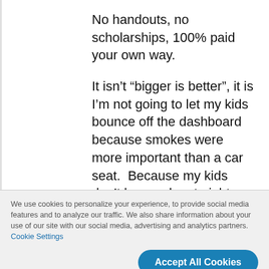No handouts, no scholarships, 100% paid your own way.
It isn’t “bigger is better”, it is I’m not going to let my kids bounce off the dashboard because smokes were more important than a car seat.  Because my kids don’t lay awake at night sweating in bed because A/C is too expensive.   Because I gladly make
We use cookies to personalize your experience, to provide social media features and to analyze our traffic. We also share information about your use of our site with our social media, advertising and analytics partners. Cookie Settings
Accept All Cookies